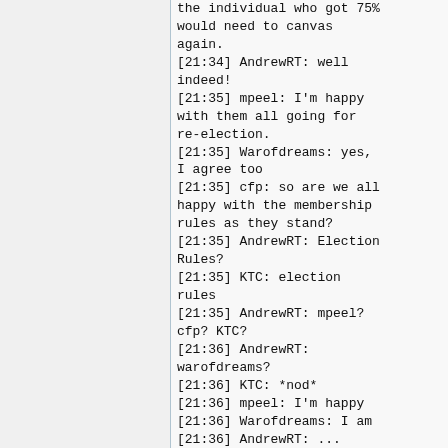[21:??] cfp: ...not 1st... the individual who got 75% would need to canvas again.
[21:34] AndrewRT: well indeed!
[21:35] mpeel: I'm happy with them all going for re-election.
[21:35] Warofdreams: yes, I agree too
[21:35] cfp: so are we all happy with the membership rules as they stand?
[21:35] AndrewRT: Election Rules?
[21:35] KTC: election rules
[21:35] AndrewRT: mpeel? cfp? KTC?
[21:36] AndrewRT: warofdreams?
[21:36] KTC: *nod*
[21:36] mpeel: I'm happy
[21:36] Warofdreams: I am
[21:36] AndrewRT: ...